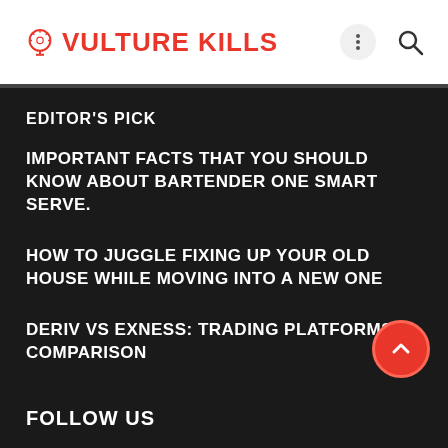VULTURE KILLS
EDITOR'S PICK
IMPORTANT FACTS THAT YOU SHOULD KNOW ABOUT BARTENDER ONE SMART SERVE.
HOW TO JUGGLE FIXING UP YOUR OLD HOUSE WHILE MOVING INTO A NEW ONE
DERIV VS EXNESS: TRADING PLATFORMS COMPARISON
FOLLOW US